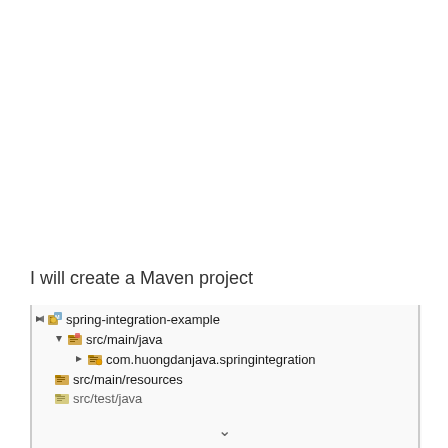I will create a Maven project
[Figure (screenshot): IDE project tree showing Maven project structure: spring-integration-example with src/main/java, com.huongdanjava.springintegration package, src/main/resources, and src/test/java folders]